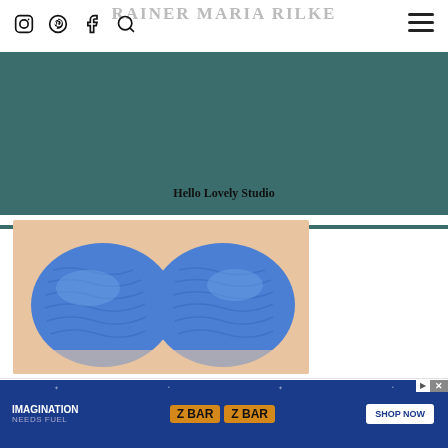RAINER MARIA RILKE
[Figure (screenshot): Navigation bar with Instagram, Pinterest, Facebook, and Search icons on left; hamburger menu on right]
[Figure (photo): Teal/dark green banner background with text 'Hello Lovely Studio' at bottom]
Hello Lovely Studio
[Figure (photo): Close-up photo of blue crocheted or knitted slippers/socks being held in hands]
If You Have Toenail Fungus Try This Tonight (It's Genius!)
[Figure (screenshot): Advertisement banner for Clif Kid ZBAR with text 'IMAGINATION NEEDS FUEL', ZBAR products, and SHOP NOW button]